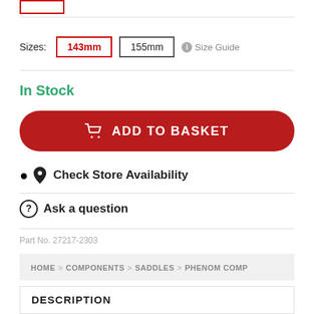Sizes: 143mm  155mm  Size Guide
In Stock
ADD TO BASKET
Check Store Availability
Ask a question
Part No. 27217-2303
HOME > COMPONENTS > SADDLES > PHENOM COMP
DESCRIPTION